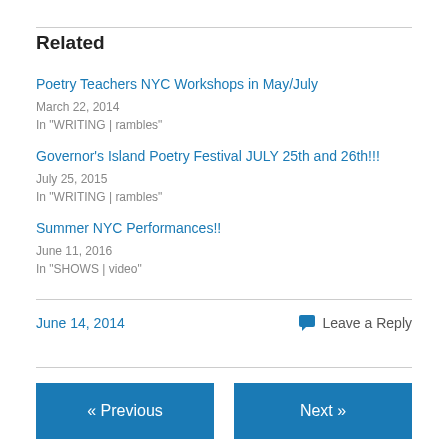Related
Poetry Teachers NYC Workshops in May/July
March 22, 2014
In "WRITING | rambles"
Governor's Island Poetry Festival JULY 25th and 26th!!!
July 25, 2015
In "WRITING | rambles"
Summer NYC Performances!!
June 11, 2016
In "SHOWS | video"
June 14, 2014
Leave a Reply
« Previous    Next »